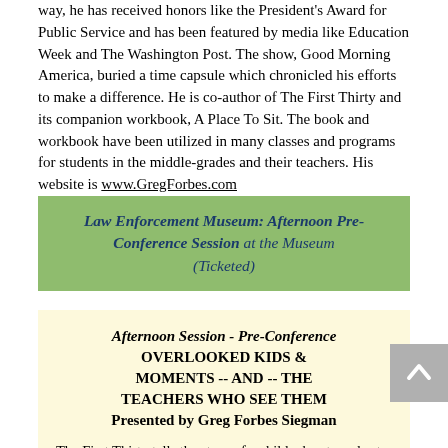way, he has received honors like the President's Award for Public Service and has been featured by media like Education Week and The Washington Post. The show, Good Morning America, buried a time capsule which chronicled his efforts to make a difference. He is co-author of The First Thirty and its companion workbook, A Place To Sit. The book and workbook have been utilized in many classes and programs for students in the middle-grades and their teachers. His website is www.GregForbes.com
Law Enforcement Museum: Afternoon Pre-Conference Session at the Museum (Ticketed)
Afternoon Session - Pre-Conference OVERLOOKED KIDS & MOMENTS -- AND -- THE TEACHERS WHO SEE THEM Presented by Greg Forbes Siegman
The First Thirty tells the story of a child who struggles to reach his